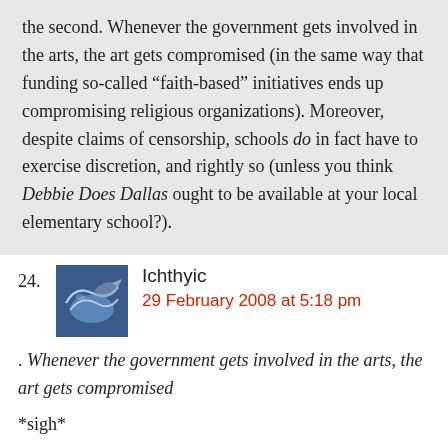the second. Whenever the government gets involved in the arts, the art gets compromised (in the same way that funding so-called “faith-based” initiatives ends up compromising religious organizations). Moreover, despite claims of censorship, schools do in fact have to exercise discretion, and rightly so (unless you think Debbie Does Dallas ought to be available at your local elementary school?).
Ichthyic
29 February 2008 at 5:18 pm
. Whenever the government gets involved in the arts, the art gets compromised
*sigh*
a horrid overstatement of the actual state of affairs.